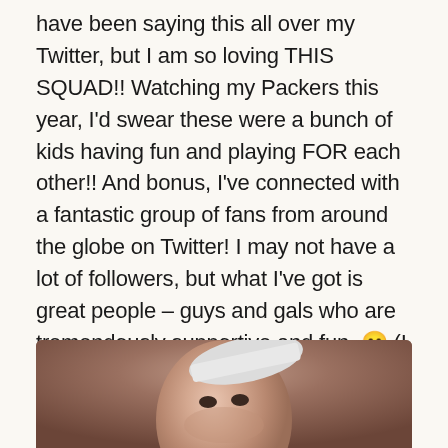have been saying this all over my Twitter, but I am so loving THIS SQUAD!! Watching my Packers this year, I'd swear these were a bunch of kids having fun and playing FOR each other!! And bonus, I've connected with a fantastic group of fans from around the globe on Twitter! I may not have a lot of followers, but what I've got is great people – guys and gals who are tremendously supportive and fun. 😊 (I even have a few cool Bears fans and I believe even a Vikings fan… 😳😂) So anyway, naturally, I believe it'll be my Packers against my second favorite team on February 7; I've been putting a lot of positive vibes out into the world, so it'll happen, right?? 🙏
[Figure (photo): Partial photo of a person's face, cropped at the bottom of the page, appearing to show a light-skinned person possibly wearing a white hat.]